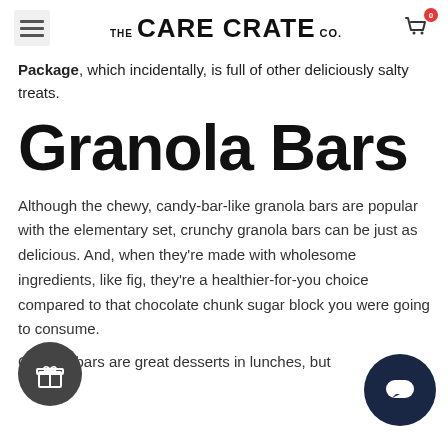THE CARE CRATE CO.
Package, which incidentally, is full of other deliciously salty treats.
Granola Bars
Although the chewy, candy-bar-like granola bars are popular with the elementary set, crunchy granola bars can be just as delicious. And, when they're made with wholesome ingredients, like fig, they're a healthier-for-you choice compared to that chocolate chunk sugar block you were going to consume.
Granola bars are great desserts in lunches, but